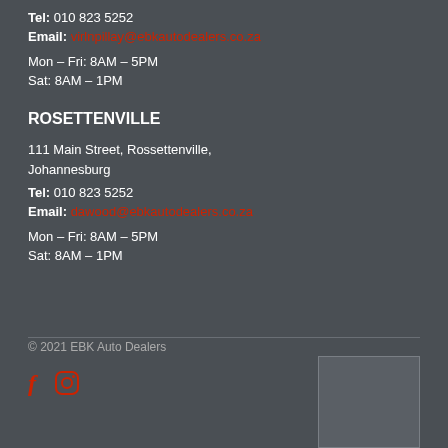Tel: 010 823 5252
Email: virlnpillay@ebkautodealers.co.za
Mon – Fri: 8AM – 5PM
Sat: 8AM – 1PM
ROSETTENVILLE
111 Main Street, Rossettenville, Johannesburg
Tel: 010 823 5252
Email: dawood@ebkautodealers.co.za
Mon – Fri: 8AM – 5PM
Sat: 8AM – 1PM
© 2021 EBK Auto Dealers